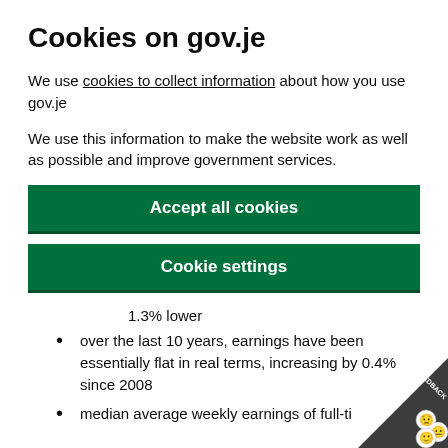Cookies on gov.je
We use cookies to collect information about how you use gov.je
We use this information to make the website work as well as possible and improve government services.
Accept all cookies
Cookie settings
1.3% lower
over the last 10 years, earnings have been essentially flat in real terms, increasing by 0.4% since 2008
median average weekly earnings of full-ti...